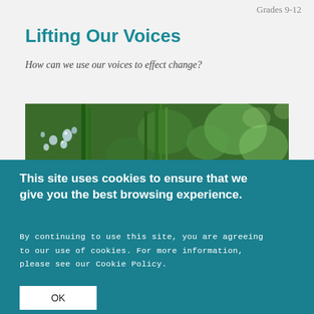Grades 9-12
Lifting Our Voices
How can we use our voices to effect change?
[Figure (photo): Close-up macro photo of green grass blades with water droplets on them, bokeh background]
This site uses cookies to ensure that we give you the best browsing experience.
By continuing to use this site, you are agreeing to our use of cookies. For more information, please see our Cookie Policy.
OK